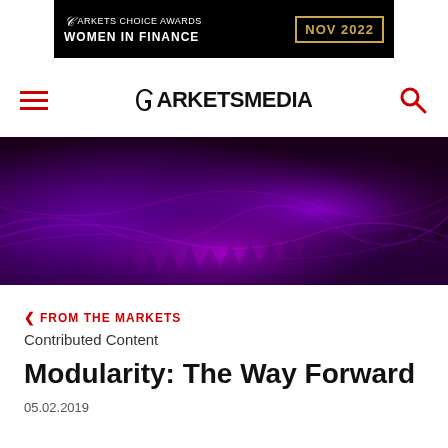[Figure (other): Markets Choice Awards Women in Finance NOV 2022 banner advertisement on black background with gold border]
[Figure (logo): Markets Media navigation bar with hamburger menu (red lines), Markets Media logo, and red search icon]
[Figure (photo): Abstract purple and black wave/fiber optic hero image]
< FROM THE MARKETS
Contributed Content
Modularity: The Way Forward
05.02.2019